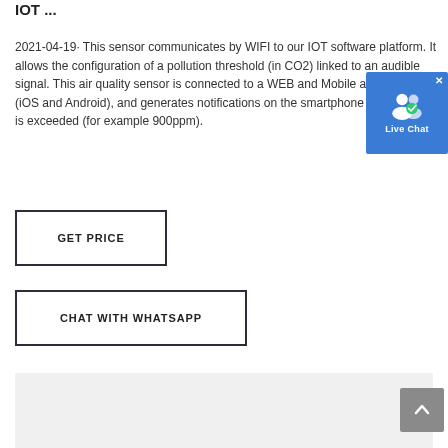IOT ...
2021-04-19· This sensor communicates by WIFI to our IOT software platform. It allows the configuration of a pollution threshold (in CO2) linked to an audible signal. This air quality sensor is connected to a WEB and Mobile application (iOS and Android), and generates notifications on the smartphone if a threshold is exceeded (for example 900ppm).
[Figure (other): GET PRICE button - rectangular bordered button with bold uppercase text]
[Figure (other): CHAT WITH WHATSAPP button - rectangular bordered button with bold uppercase text]
[Figure (other): Live Chat widget - blue square widget with user icon and Live Chat label, with close X button]
[Figure (other): Gray section at bottom of page, with scroll-to-top button on right]